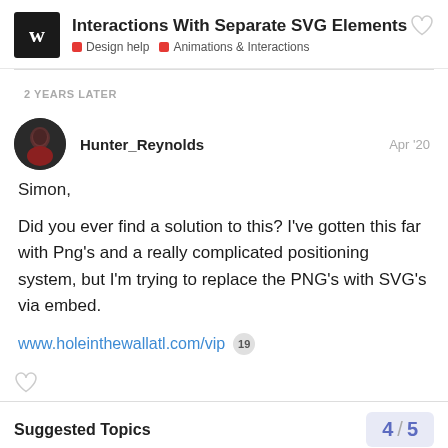Interactions With Separate SVG Elements — Design help, Animations & Interactions
2 YEARS LATER
Hunter_Reynolds — Apr '20
Simon,
Did you ever find a solution to this? I've gotten this far with Png's and a really complicated positioning system, but I'm trying to replace the PNG's with SVG's via embed.
www.holeinthewallatl.com/vip 19
Suggested Topics
4 / 5